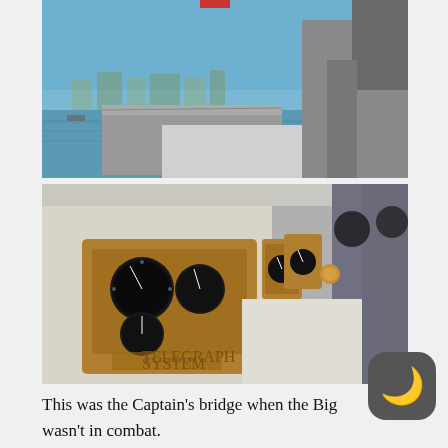[Figure (photo): View from the Captain's bridge of a naval vessel showing the ship's deck extending toward a harbor with city skyline in the background under blue sky. Military grey structures and equipment visible on ship.]
[Figure (photo): Close-up of brass/bronze nautical instruments and gauges on the Captain's bridge panel of a warship, showing multiple circular dials and controls mounted on ornate metalwork.]
This was the Captain's bridge when the Big wasn't in combat.